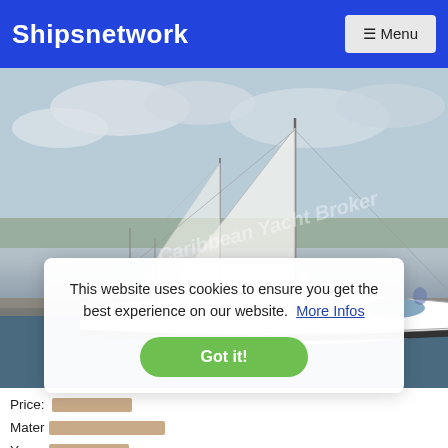Shipsnetwork  ☰ Menu
[Figure (photo): Sailboat moored at a marina, white hull, multiple masts, cloudy sky, watermark reading 'Caribbean Yacht Broker']
This website uses cookies to ensure you get the best experience on our website.  More Infos
Got it!
Price: [redacted]
Material: [redacted]
Year: [redacted]
Provider: Caribbean Yacht Broker